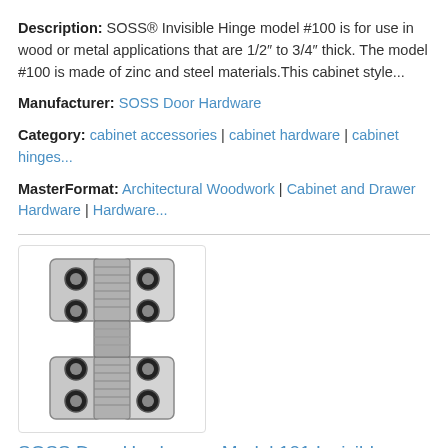Description: SOSS® Invisible Hinge model #100 is for use in wood or metal applications that are 1/2″ to 3/4″ thick. The model #100 is made of zinc and steel materials.This cabinet style...
Manufacturer: SOSS Door Hardware
Category: cabinet accessories | cabinet hardware | cabinet hinges...
MasterFormat: Architectural Woodwork | Cabinet and Drawer Hardware | Hardware...
[Figure (photo): Photo of a SOSS invisible hinge, chrome/silver finish, showing the folded hinge mechanism with two mounting plates each having two circular holes, connected by a central accordion-style pivot barrel.]
SOSS Door Hardware - Model 101 Invisible